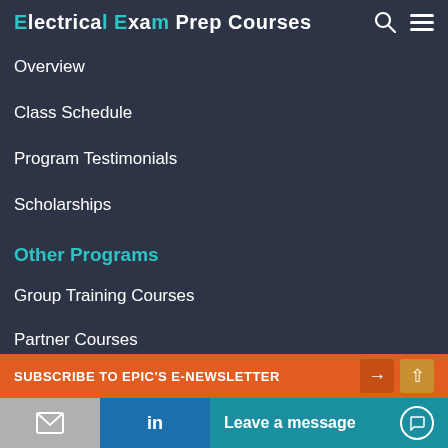Electrical Exam Prep Courses
Overview
Class Schedule
Program Testimonials
Scholarships
Other Programs
Group Training Courses
Partner Courses
Stay Informed
Get case studies, industry reports, the latest course offerings and more.
SUBSCRIBE TO EPIC'S E-NEWSLETTER
Leave a message